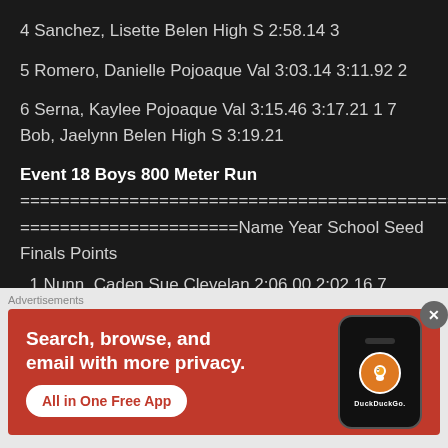4 Sanchez, Lisette Belen High S 2:58.14 3
5 Romero, Danielle Pojoaque Val 3:03.14 3:11.92 2
6 Serna, Kaylee Pojoaque Val 3:15.46 3:17.21 1 7 Bob, Jaelynn Belen High S 3:19.21
Event 18 Boys 800 Meter Run
==================================================================Name Year School Seed Finals Points
1 Nunn, Caden Sue Clevelan 2:06.00 2:02.16 7
[Figure (infographic): DuckDuckGo advertisement banner: Search, browse, and email with more privacy. All in One Free App. Shows phone mockup with DuckDuckGo logo.]